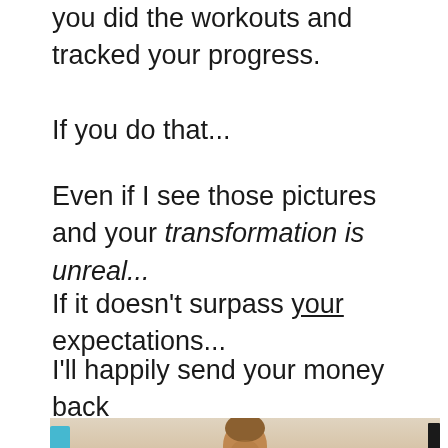you did the workouts and tracked your progress.
If you do that...
Even if I see those pictures and your transformation is unreal...
If it doesn't surpass your expectations...
I'll happily send your money back
[Figure (photo): A muscular man at what appears to be a fitness competition or gym setting, photographed from the torso up. Blue equipment visible on the left, dark vertical bars on the right edge. A small red sign/banner is visible in the bottom right corner.]